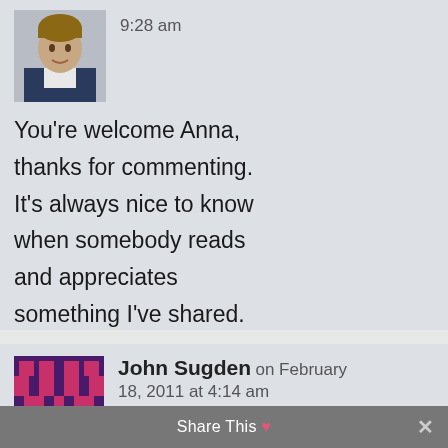9:28 am
You're welcome Anna, thanks for commenting. It's always nice to know when somebody reads and appreciates something I've shared.
REPLY
[Figure (photo): Pixel art avatar for John Sugden - purple and pink pixel character]
John Sugden on February 18, 2011 at 4:14 am
Tevya–this post was great! It reminded me of
Share This ♥